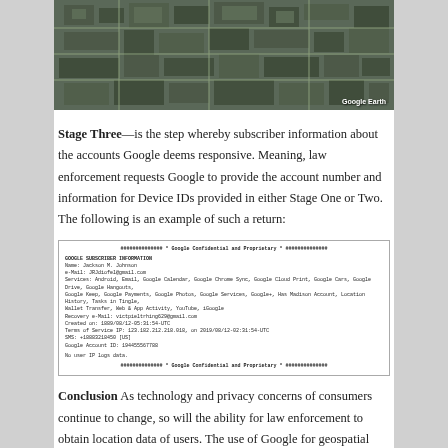[Figure (photo): Aerial satellite/Google Earth view of an urban area showing buildings, roads, and city blocks from above. 'Google Earth' watermark in lower right corner.]
Stage Three—is the step whereby subscriber information about the accounts Google deems responsive. Meaning, law enforcement requests Google to provide the account number and information for Device IDs provided in either Stage One or Two. The following is an example of such a return:
[Figure (screenshot): Screenshot of a Google Subscriber Information document marked 'Google Confidential and Proprietary'. Shows subscriber data including Name: Jackson M. Johnson, e-Mail, Services (Android, Email, Google Calendar, Google Chrome Sync, Google Cloud Print, Google Cars, Google Drive, Google Hangouts, Google Keep, Google Payments, Google Photos, Google Services, Google+, Has Madison Account, Location History, Tasks in Tingle, Wallet Transfer, Web & App Activity, YouTube, iGoogle), Recovery e-Mail, Created on date, Terms of Service IP, SMS, Google Account ID, and 'No user IP logs data.']
Conclusion As technology and privacy concerns of consumers continue to change, so will the ability for law enforcement to obtain location data of users. The use of Google for geospatial data is an example of Fourth...